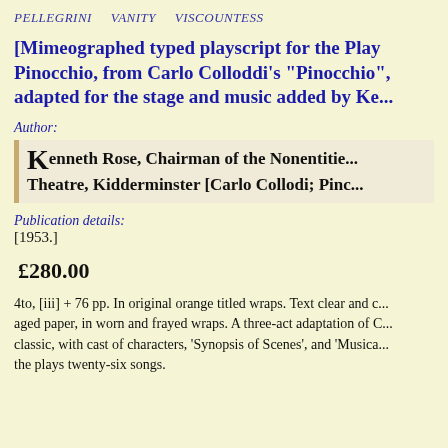PELLEGRINI    VANITY    VISCOUNTESS
[Mimeographed typed playscript for the Play Pinocchio, from Carlo Colloddi's "Pinocchio", adapted for the stage and music added by Kenneth Rose...]
Author:
Kenneth Rose, Chairman of the Nonentities Theatre, Kidderminster [Carlo Collodi; Pinocchio]
Publication details:
[1953.]
£280.00
4to, [iii] + 76 pp. In original orange titled wraps. Text clear and clean on aged paper, in worn and frayed wraps. A three-act adaptation of Collodi's classic, with cast of characters, 'Synopsis of Scenes', and 'Musical Numbers'; the plays twenty-six songs.